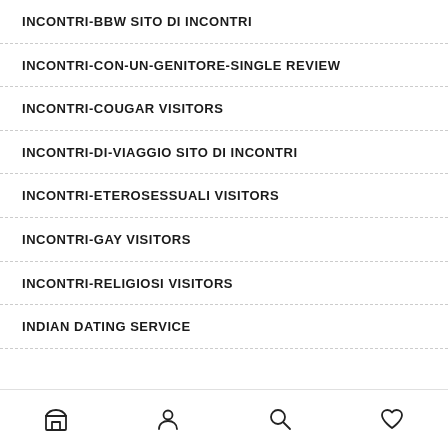INCONTRI-BBW SITO DI INCONTRI
INCONTRI-CON-UN-GENITORE-SINGLE REVIEW
INCONTRI-COUGAR VISITORS
INCONTRI-DI-VIAGGIO SITO DI INCONTRI
INCONTRI-ETEROSESSUALI VISITORS
INCONTRI-GAY VISITORS
INCONTRI-RELIGIOSI VISITORS
INDIAN DATING SERVICE
[Figure (other): Bottom navigation bar with four icons: shop/market, person/account, search, and heart/favorites]